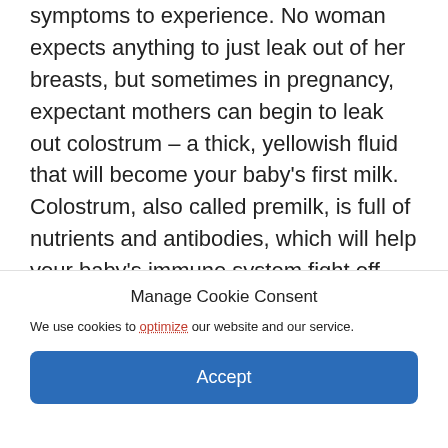symptoms to experience. No woman expects anything to just leak out of her breasts, but sometimes in pregnancy, expectant mothers can begin to leak out colostrum – a thick, yellowish fluid that will become your baby's first milk. Colostrum, also called premilk, is full of nutrients and antibodies, which will help your baby's immune system fight off infection from the germy world we live in.
Manage Cookie Consent
We use cookies to optimize our website and our service.
Accept